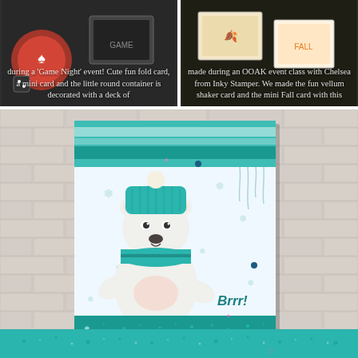[Figure (photo): Dark-background photo of crafting items including game night cards and round container decorated with playing card suits]
during a 'Game Night' event! Cute fun fold card, a mini card and the little round container is decorated with a deck of
[Figure (photo): Dark-background photo of handmade cards including a vellum shaker card and mini Fall card]
made during an OOAK event class with Chelsea from Inky Stamper. We made the fun vellum shaker card and the mini Fall card with this
[Figure (photo): Photo of a handmade winter card featuring a polar bear character wearing a teal knit hat and scarf, with snowflakes and icicles, teal glitter accents, and the word Brrr!, set against a white brick wall background]